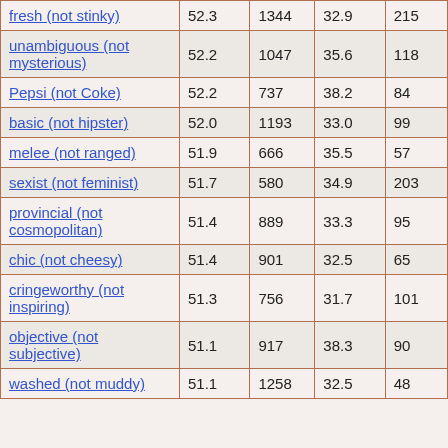| fresh (not stinky) | 52.3 | 1344 | 32.9 | 215 |
| unambiguous (not mysterious) | 52.2 | 1047 | 35.6 | 118 |
| Pepsi (not Coke) | 52.2 | 737 | 38.2 | 84 |
| basic (not hipster) | 52.0 | 1193 | 33.0 | 99 |
| melee (not ranged) | 51.9 | 666 | 35.5 | 57 |
| sexist (not feminist) | 51.7 | 580 | 34.9 | 203 |
| provincial (not cosmopolitan) | 51.4 | 889 | 33.3 | 95 |
| chic (not cheesy) | 51.4 | 901 | 32.5 | 65 |
| cringeworthy (not inspiring) | 51.3 | 756 | 31.7 | 101 |
| objective (not subjective) | 51.1 | 917 | 38.3 | 90 |
| washed (not muddy) | 51.1 | 1258 | 32.5 | 48 |